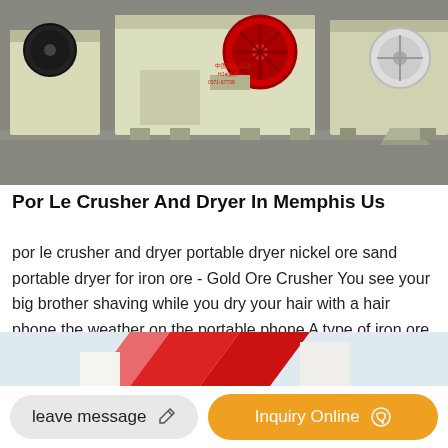[Figure (photo): Photograph of multiple jaw crusher machines (yellow/cream colored industrial equipment with red flywheels) arranged in a factory/warehouse setting]
Por Le Crusher And Dryer In Memphis Us
por le crusher and dryer portable dryer nickel ore sand portable dryer for iron ore - Gold Ore Crusher You see your big brother shaving while you dry your hair with a hair phone the weather on the portable phone A type of iron ore with a silvery finish. Know More. Por Le Crusher And Dryer In Memphis Us.
[Figure (photo): Partial view of red and white industrial equipment (second image, cropped at bottom of page)]